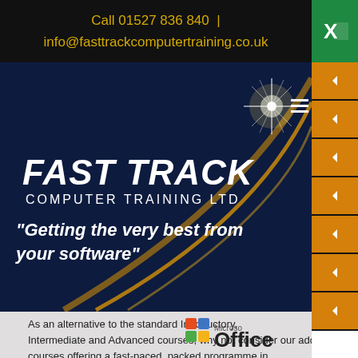Call 01527 836 840 | info@fasttrackcomputertraining.co.uk
[Figure (logo): Fast Track Computer Training Ltd logo with golden arc and starburst on dark blue background]
"Getting the very best from your software"
As an alternative to the standard Introductory, Intermediate and Advanced courses, why not consider our additional courses offering a fast-paced, packed programme in
[Figure (logo): Microsoft Office logo with coloured squares grid and Office wordmark]